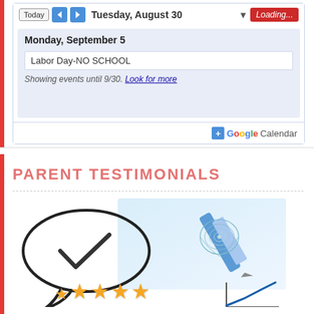[Figure (screenshot): Google Calendar widget showing Tuesday August 30 header with Today/navigation buttons, Loading... badge, Monday September 5 with Labor Day-NO SCHOOL event, footer showing 'Showing events until 9/30. Look for more' and Google Calendar badge]
PARENT TESTIMONIALS
[Figure (illustration): Composite illustration showing a speech bubble with checkmark, a pen writing with a nautilus shell graphic, five gold stars rating, and an upward trending graph line]